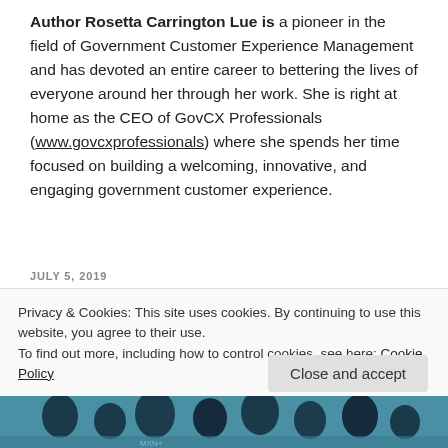Author Rosetta Carrington Lue is a pioneer in the field of Government Customer Experience Management and has devoted an entire career to bettering the lives of everyone around her through her work. She is right at home as the CEO of GovCX Professionals (www.govcxprofessionals) where she spends her time focused on building a welcoming, innovative, and engaging government customer experience.
JULY 5, 2019
Wanted – Women CIOs in Federal
Privacy & Cookies: This site uses cookies. By continuing to use this website, you agree to their use.
To find out more, including how to control cookies, see here: Cookie Policy
[Figure (photo): Partial image of people at the bottom of the page, appears to be a group photo with blue tones]